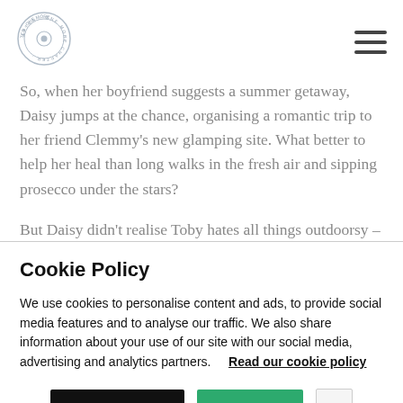[Figure (logo): Circular logo with text around the border, light grey tones]
So, when her boyfriend suggests a summer getaway, Daisy jumps at the chance, organising a romantic trip to her friend Clemmy's new glamping site. What better to help her heal than long walks in the fresh air and sipping prosecco under the stars?
But Daisy didn't realise Toby hates all things outdoorsy – he's
Cookie Policy
We use cookies to personalise content and ads, to provide social media features and to analyse our traffic. We also share information about your use of our site with our social media, advertising and analytics partners.   Read our cookie policy
Cookie settings   ACCEPT   x